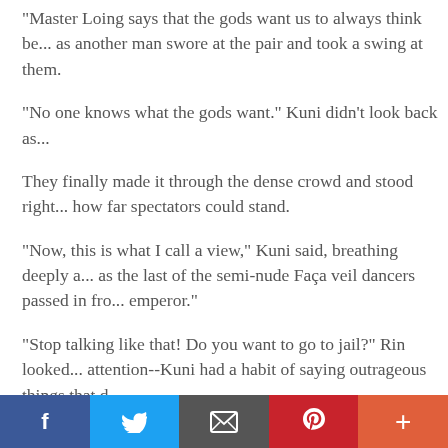"Master Loing says that the gods want us to always think be... as another man swore at the pair and took a swing at them.
"No one knows what the gods want." Kuni didn't look back as...
They finally made it through the dense crowd and stood right... how far spectators could stand.
"Now, this is what I call a view," Kuni said, breathing deeply a... as the last of the semi-nude Faça veil dancers passed in fro... emperor."
"Stop talking like that! Do you want to go to jail?" Rin looked... attention--Kuni had a habit of saying outrageous things that d...
"Now, doesn't this beat sitting in class practicing carving wax... Moral Relations?" Kuni draped his arm around Rin's shoulde...
Master Loing had explained that he wasn't going to close his... emperor wouldn't want the children to interrupt their studies--... Master Loing didn't approve of the emperor. A lot of people in...